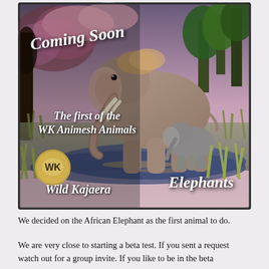[Figure (illustration): Promotional image for Wild Kajaera 'WK Animesh Animals' featuring two 3D-rendered elephants (adult and baby) in a scenic natural setting with trees, grass, and water. Text overlays read 'Coming Soon', 'The first of the WK Animesh Animals', 'Wild Kajaera' with a circular logo, and 'Elephants'.]
We decided on the African Elephant as the first animal to do.
We are very close to starting a beta test. If you sent a request watch out for a group invite. If you like to be in the beta